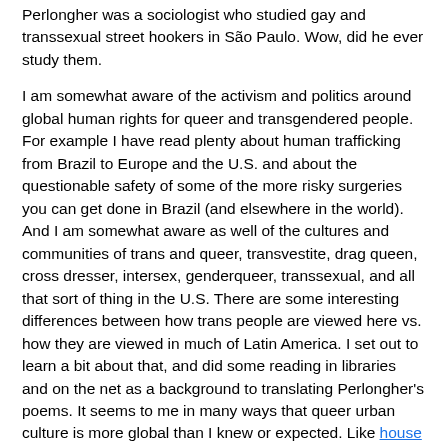Perlongher was a sociologist who studied gay and transsexual street hookers in São Paulo. Wow, did he ever study them.
I am somewhat aware of the activism and politics around global human rights for queer and transgendered people. For example I have read plenty about human trafficking from Brazil to Europe and the U.S. and about the questionable safety of some of the more risky surgeries you can get done in Brazil (and elsewhere in the world). And I am somewhat aware as well of the cultures and communities of trans and queer, transvestite, drag queen, cross dresser, intersex, genderqueer, transsexual, and all that sort of thing in the U.S. There are some interesting differences between how trans people are viewed here vs. how they are viewed in much of Latin America. I set out to learn a bit about that, and did some reading in libraries and on the net as a background to translating Perlongher's poems. It seems to me in many ways that queer urban culture is more global than I knew or expected. Like house music, like the transcendence of Frankie Knuckles, Perlongher's genderqueer hookers would be at home in San Francisco or Chicago, Paris or Bangkok, as much as in